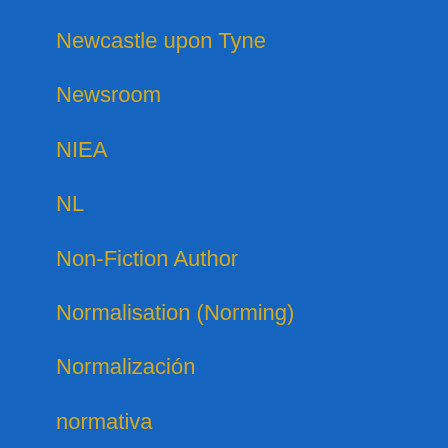Newcastle upon Tyne
Newsroom
NIEA
NL
Non-Fiction Author
Normalisation (Norming)
Normalización
normativa
Norming